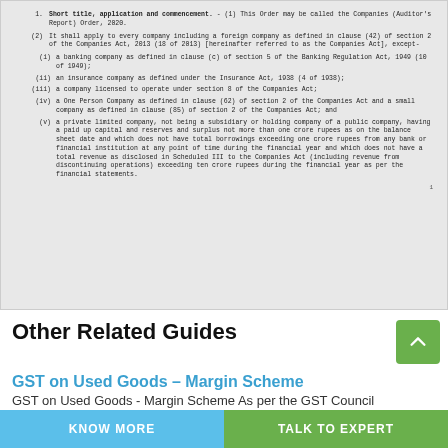1. Short title, application and commencement. - (1) This Order may be called the Companies (Auditor's Report) Order, 2020.
(2) It shall apply to every company including a foreign company as defined in clause (42) of section 2 of the Companies Act, 2013 (18 of 2013) [hereinafter referred to as the Companies Act], except-
(i) a banking company as defined in clause (c) of section 5 of the Banking Regulation Act, 1949 (10 of 1949);
(ii) an insurance company as defined under the Insurance Act, 1938 (4 of 1938);
(iii) a company licensed to operate under section 8 of the Companies Act;
(iv) a One Person Company as defined in clause (62) of section 2 of the Companies Act and a small company as defined in clause (85) of section 2 of the Companies Act; and
(v) a private limited company, not being a subsidiary or holding company of a public company, having a paid up capital and reserves and surplus not more than one crore rupees as on the balance sheet date and which does not have total borrowings exceeding one crore rupees from any bank or financial institution at any point of time during the financial year and which does not have a total revenue as disclosed in Scheduled III to the Companies Act (including revenue from discontinuing operations) exceeding ten crore rupees during the financial year as per the financial statements.
1
Other Related Guides
GST on Used Goods – Margin Scheme
GST on Used Goods - Margin Scheme As per the GST Council